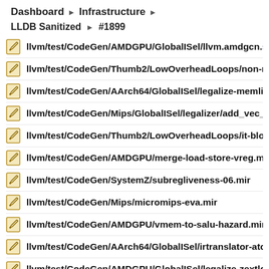Dashboard ▶ Infrastructure ▶
LLDB Sanitized ▶ #1899
llvm/test/CodeGen/AMDGPU/GlobalISel/llvm.amdgcn.s.buffer…
llvm/test/CodeGen/Thumb2/LowOverheadLoops/non-masked…
llvm/test/CodeGen/AArch64/GlobalISel/legalize-memlib-debug…
llvm/test/CodeGen/Mips/GlobalISel/legalizer/add_vec_builtin.…
llvm/test/CodeGen/Thumb2/LowOverheadLoops/it-block-rand…
llvm/test/CodeGen/AMDGPU/merge-load-store-vreg.mir
llvm/test/CodeGen/SystemZ/subregliveness-06.mir
llvm/test/CodeGen/Mips/micromips-eva.mir
llvm/test/CodeGen/AMDGPU/vmem-to-salu-hazard.mir
llvm/test/CodeGen/AArch64/GlobalISel/irtranslator-atomic-me…
llvm/test/CodeGen/AMDGPU/GlobalISel/legalize-zextload-con…
llvm/test/CodeGen/AMDGPU/legalize-fp-load-invariant.ll
llvm/test/CodeGen/PowerPC/…